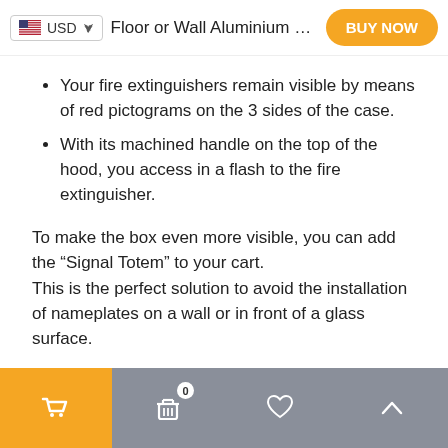USD | Floor or Wall Aluminium Gr... | BUY NOW
Your fire extinguishers remain visible by means of red pictograms on the 3 sides of the case.
With its machined handle on the top of the hood, you access in a flash to the fire extinguisher.
To make the box even more visible, you can add the "Signal Totem" to your cart.
This is the perfect solution to avoid the installation of nameplates on a wall or in front of a glass surface.
This Soprano fire extinguisher cover is designed and manufactured in France to ensure service and outstanding quality.
Cart | Basket (0) | Wishlist | Scroll up